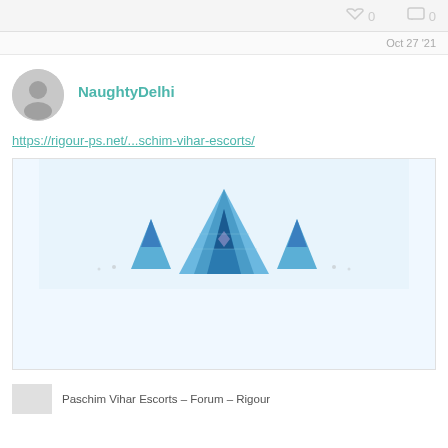0  0
Oct 27 '21
NaughtyDelhi
https://rigour-ps.net/...schim-vihar-escorts/
[Figure (illustration): Blue geometric mountain/crown logo with faceted crystalline triangular shapes in shades of blue against a light blue background]
Paschim Vihar Escorts &#8211; Forum &#8211; Rigour